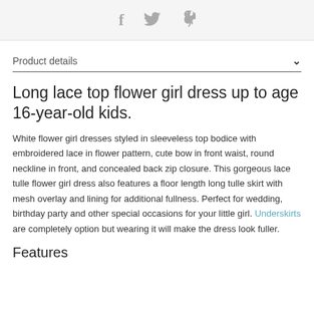f  🐦  p
Product details
Long lace top flower girl dress up to age 16-year-old kids.
White flower girl dresses styled in sleeveless top bodice with embroidered lace in flower pattern, cute bow in front waist, round neckline in front, and concealed back zip closure. This gorgeous lace tulle flower girl dress also features a floor length long tulle skirt with mesh overlay and lining for additional fullness. Perfect for wedding, birthday party and other special occasions for your little girl. Underskirts are completely option but wearing it will make the dress look fuller.
Features